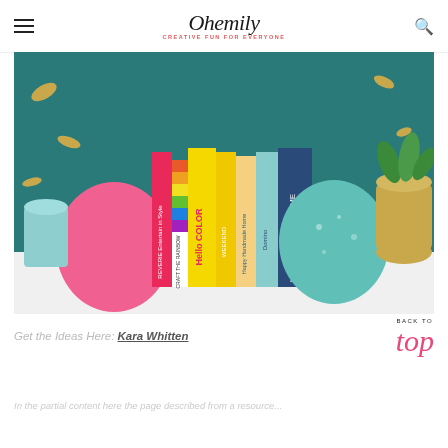Ohemily — CREATIVE FUN FOR EVERYONE
[Figure (photo): A styled shelf photo showing a collection of colorful books standing upright between two decorative painted eggs (pink and teal), a gold vase with plant, a teal lamp, and a dark teal wall with gold leaf pattern. Book spines visible include: REVERIE Entertain in Style, Craft the Rainbow, Hello Color, Weekend, Happy Handmade Home, Domino The Book of Decorating, Lovable Livable Home.]
Get the Ideas Here: Kara Whitten
BACK TO top
In the partial lorem of some content the page described here...